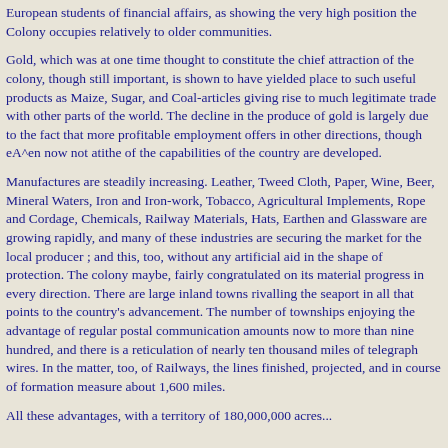European students of financial affairs, as showing the very high position the Colony occupies relatively to older communities.
Gold, which was at one time thought to constitute the chief attraction of the colony, though still important, is shown to have yielded place to such useful products as Maize, Sugar, and Coal-articles giving rise to much legitimate trade with other parts of the world. The decline in the produce of gold is largely due to the fact that more profitable employment offers in other directions, though eA^en now not atithe of the capabilities of the country are developed.
Manufactures are steadily increasing. Leather, Tweed Cloth, Paper, Wine, Beer, Mineral Waters, Iron and Iron-work, Tobacco, Agricultural Implements, Rope and Cordage, Chemicals, Railway Materials, Hats, Earthen and Glassware are growing rapidly, and many of these industries are securing the market for the local producer ; and this, too, without any artificial aid in the shape of protection. The colony maybe, fairly congratulated on its material progress in every direction. There are large inland towns rivalling the seaport in all that points to the country's advancement. The number of townships enjoying the advantage of regular postal communication amounts now to more than nine hundred, and there is a reticulation of nearly ten thousand miles of telegraph wires. In the matter, too, of Railways, the lines finished, projected, and in course of formation measure about 1,600 miles.
All these advantages, with a territory of 180,000,000 acres...